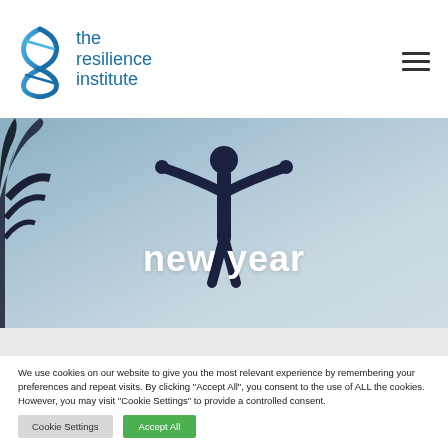[Figure (logo): The Resilience Institute logo with a DNA/figure icon in blue and teal on the left, and the text 'the resilience institute' in blue on the right]
[Figure (photo): Hero image showing a silhouette of a person with arms raised wide against a gray-blue sky with a tree silhouette on the left, with text 'new year' overlaid in white]
new year
We use cookies on our website to give you the most relevant experience by remembering your preferences and repeat visits. By clicking “Accept All”, you consent to the use of ALL the cookies. However, you may visit "Cookie Settings" to provide a controlled consent.
Cookie Settings
Accept All